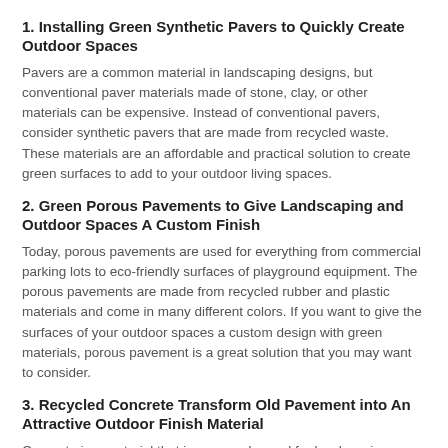1. Installing Green Synthetic Pavers to Quickly Create Outdoor Spaces
Pavers are a common material in landscaping designs, but conventional paver materials made of stone, clay, or other materials can be expensive. Instead of conventional pavers, consider synthetic pavers that are made from recycled waste. These materials are an affordable and practical solution to create green surfaces to add to your outdoor living spaces.
2. Green Porous Pavements to Give Landscaping and Outdoor Spaces A Custom Finish
Today, porous pavements are used for everything from commercial parking lots to eco-friendly surfaces of playground equipment. The porous pavements are made from recycled rubber and plastic materials and come in many different colors. If you want to give the surfaces of your outdoor spaces a custom design with green materials, porous pavement is a great solution that you may want to consider.
3. Recycled Concrete Transform Old Pavement into An Attractive Outdoor Finish Material
Concrete is a material that is commonly used for hardscaping